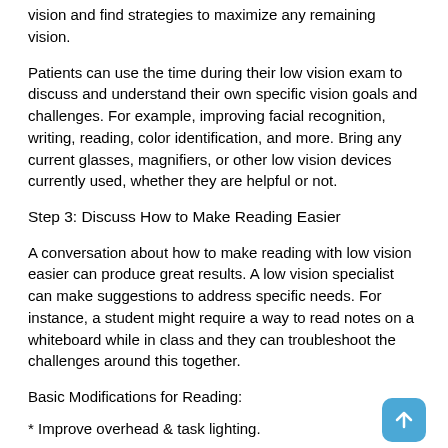vision and find strategies to maximize any remaining vision.
Patients can use the time during their low vision exam to discuss and understand their own specific vision goals and challenges. For example, improving facial recognition, writing, reading, color identification, and more. Bring any current glasses, magnifiers, or other low vision devices currently used, whether they are helpful or not.
Step 3: Discuss How to Make Reading Easier
A conversation about how to make reading with low vision easier can produce great results. A low vision specialist can make suggestions to address specific needs. For instance, a student might require a way to read notes on a whiteboard while in class and they can troubleshoot the challenges around this together.
Basic Modifications for Reading:
* Improve overhead & task lighting.